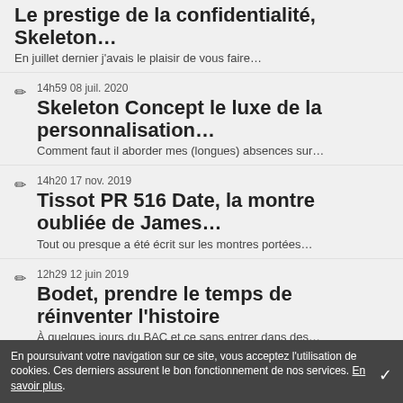Le prestige de la confidentialité, Skeleton...
En juillet dernier j'avais le plaisir de vous faire...
14h59 08 juil. 2020
Skeleton Concept le luxe de la personnalisation...
Comment faut il aborder mes (longues) absences sur...
14h20 17 nov. 2019
Tissot PR 516 Date, la montre oubliée de James...
Tout ou presque a été écrit sur les montres portées...
12h29 12 juin 2019
Bodet, prendre le temps de réinventer l'histoire
À quelques jours du BAC et ce sans entrer dans des...
10h00 28 mai 2019
Jaguar I-Pace, électriquement votre
En poursuivant votre navigation sur ce site, vous acceptez l'utilisation de cookies. Ces derniers assurent le bon fonctionnement de nos services. En savoir plus.